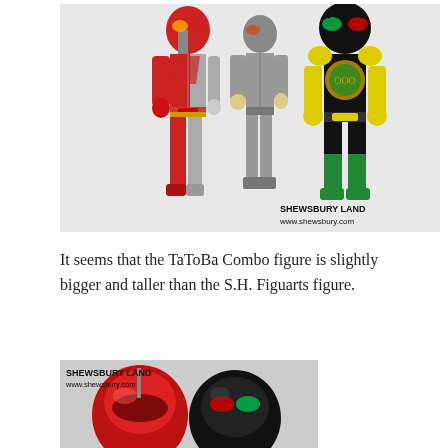[Figure (photo): Three action figures standing side by side against a white background. Left figure is red and silver (split design), middle figure is silver/grey, right figure is black with yellow and green accents. Watermark reads SHEWSBURY LAND www.shewsbury.com in bottom right.]
It seems that the TaToBa Combo figure is slightly bigger and taller than the S.H. Figuarts figure.
[Figure (photo): Close-up photo of two action figure heads/helmets. Left helmet is red/metallic, right helmet is black with red and green elements. Watermark reads SHEWSBURY LAND www.shewsbury.com in top left.]